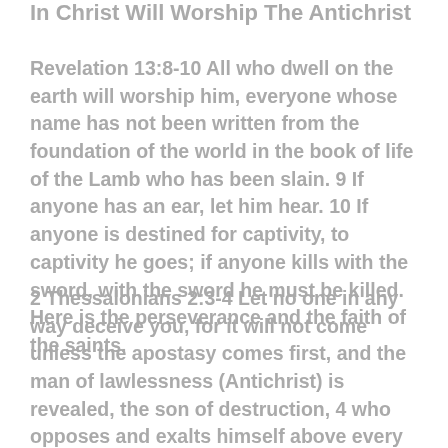In Christ Will Worship The Antichrist
Revelation 13:8-10 All who dwell on the earth will worship him, everyone whose name has not been written from the foundation of the world in the book of life of the Lamb who has been slain. 9 If anyone has an ear, let him hear. 10 If anyone is destined for captivity, to captivity he goes; if anyone kills with the sword, with the sword he must be killed. Here is the perseverance and the faith of the saints.
2 Thessalonians 2:3-4 Let no one in any way deceive you, for it will not come unless the apostasy comes first, and the man of lawlessness (Antichrist) is revealed, the son of destruction, 4 who opposes and exalts himself above every so-called god or object of worship, so that he takes his seat in the temple of God, displaying himself